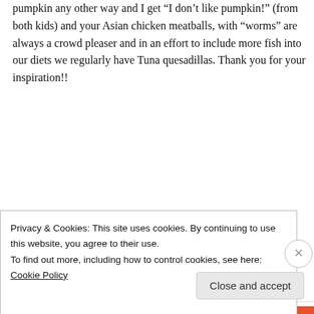pumpkin any other way and I get “I don’t like pumpkin!” (from both kids) and your Asian chicken meatballs, with “worms” are always a crowd pleaser and in an effort to include more fish into our diets we regularly have Tuna quesadillas. Thank you for your inspiration!!
↳ Reply
Kate Temple-Smith on May 14, 2014 at 8:57 pm
Have found your recipes a life saver as my little
Privacy & Cookies: This site uses cookies. By continuing to use this website, you agree to their use.
To find out more, including how to control cookies, see here: Cookie Policy
Close and accept